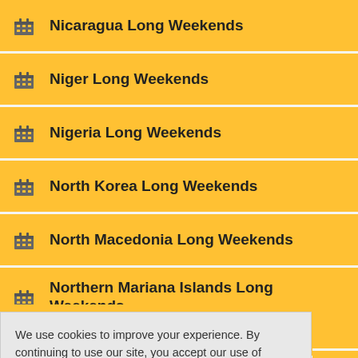Nicaragua Long Weekends
Niger Long Weekends
Nigeria Long Weekends
North Korea Long Weekends
North Macedonia Long Weekends
Northern Mariana Islands Long Weekends
Norway Long Weekends
We use cookies to improve your experience. By continuing to use our site, you accept our use of cookies, Privacy Policy & Terms of Use. Learn more
Papua New Guinea Long Weekends